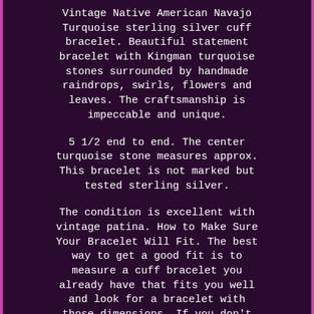Vintage Native American Navajo Turquoise sterling silver cuff bracelet. Beautiful statement bracelet with Kingman turquoise stones surrounded by handmade raindrops, swirls, flowers and leaves. The craftsmanship is impeccable and unique.
5 1/2 end to end. The center turquoise stone measures approx. This bracelet is not marked but tested sterling silver.
The condition is excellent with vintage patina. How to Make Sure Your Bracelet Will Fit. The best way to get a good fit is to measure a cuff bracelet you already have that fits you well and look for a bracelet with those dimensions. If you don't have a cuff bracelet to use for comparison, then measure your wrist where you want to wear the